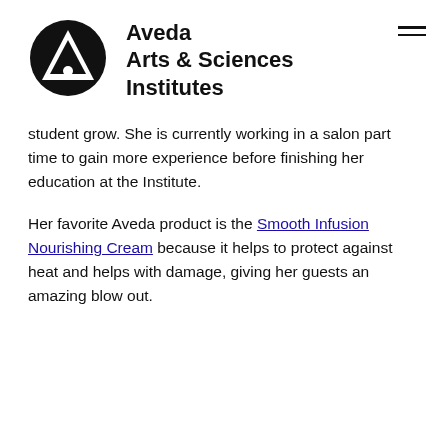[Figure (logo): Aveda Arts & Sciences Institutes logo: black circle with white triangle/arrow shape inside, and a small circle below the triangle]
Aveda Arts & Sciences Institutes
student grow. She is currently working in a salon part time to gain more experience before finishing her education at the Institute.
Her favorite Aveda product is the Smooth Infusion Nourishing Cream because it helps to protect against heat and helps with damage, giving her guests an amazing blow out.